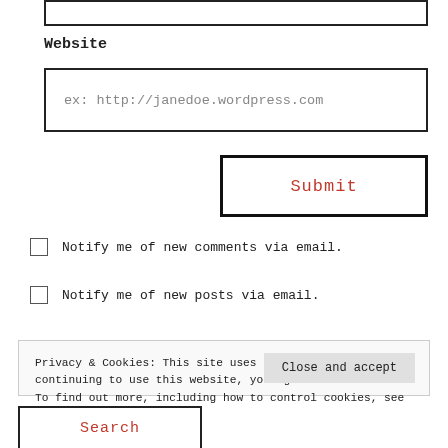[Figure (screenshot): Partial input box at top of page (cropped)]
Website
[Figure (screenshot): Website input field with placeholder text: ex: http://janedoe.wordpress.com]
[Figure (screenshot): Submit button with red text 'Submit' and black border]
Notify me of new comments via email.
Notify me of new posts via email.
Privacy & Cookies: This site uses cookies. By continuing to use this website, you agree to their use. To find out more, including how to control cookies, see here: Cookie Policy
Close and accept
Search